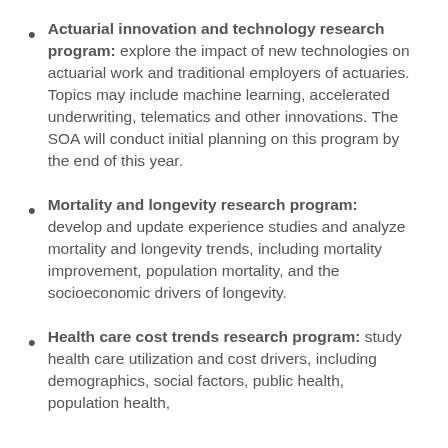Actuarial innovation and technology research program: explore the impact of new technologies on actuarial work and traditional employers of actuaries. Topics may include machine learning, accelerated underwriting, telematics and other innovations. The SOA will conduct initial planning on this program by the end of this year.
Mortality and longevity research program: develop and update experience studies and analyze mortality and longevity trends, including mortality improvement, population mortality, and the socioeconomic drivers of longevity.
Health care cost trends research program: study health care utilization and cost drivers, including demographics, social factors, public health, population health,